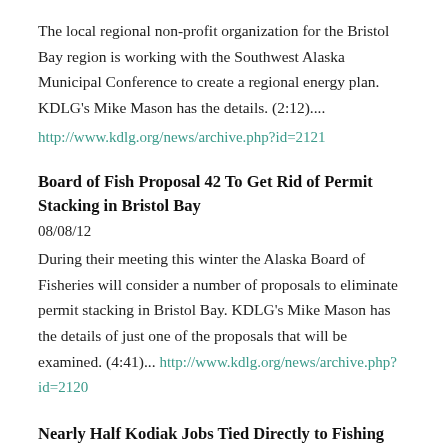The local regional non-profit organization for the Bristol Bay region is working with the Southwest Alaska Municipal Conference to create a regional energy plan. KDLG's Mike Mason has the details. (2:12)....
http://www.kdlg.org/news/archive.php?id=2121
Board of Fish Proposal 42 To Get Rid of Permit Stacking in Bristol Bay
08/08/12
During their meeting this winter the Alaska Board of Fisheries will consider a number of proposals to eliminate permit stacking in Bristol Bay. KDLG's Mike Mason has the details of just one of the proposals that will be examined. (4:41)... http://www.kdlg.org/news/archive.php?id=2120
Nearly Half Kodiak Jobs Tied Directly to Fishing